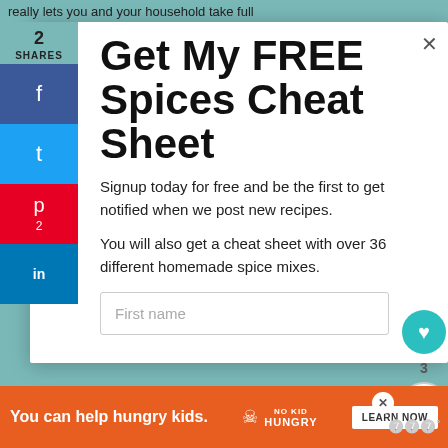really lets you and your household take full
2
SHARES
Get My FREE Spices Cheat Sheet
Signup today for free and be the first to get notified when we post new recipes.
You will also get a cheat sheet with over 36 different homemade spice mixes.
First name
WHAT'S NEXT → Top 10 Kitchen Tools Every....
You can help hungry kids.  NO KID HUNGRY  LEARN NOW
3